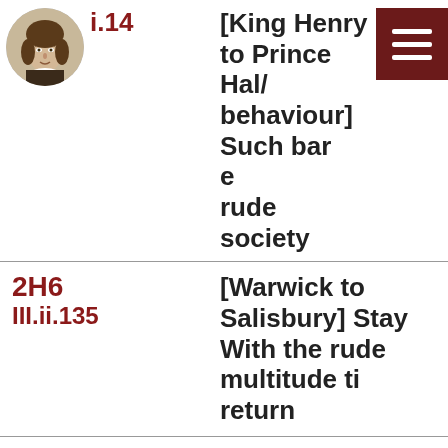1H4 / i.14 | [King Henry to Prince Hal/behaviour] Such barn... e rude society
2H6 / III.ii.135 | [Warwick to Salisbury] Stay... With the rude multitude ti... return
2H6 / III.ii.271 | [Suffolk to Salisbury] the commons, rude unpolished...
2H6 / V.i.64 | [Iden to King, of himself] o... rude and of so mean condi...
Cym / ... | [Belarius to disguised Inno...